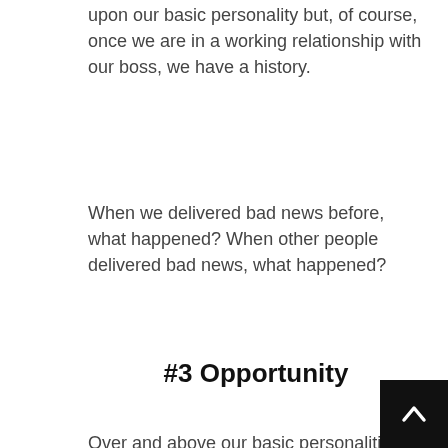The way we approach a relationship depends upon our basic personality but, of course, once we are in a working relationship with our boss, we have a history.
When we delivered bad news before, what happened?  When other people delivered bad news, what happened?
#3 Opportunity
Over and above our basic personalities and relationships, we need a time and place to deliver bad news.  Sometimes, we simply have no time as everyone rushes for the door to catch their transport home.
It's good to have a relaxed casual place where people can bring up bad news, often sideways.